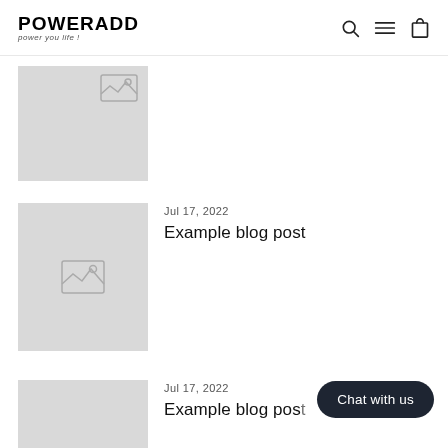POWERADD — power you life!
[Figure (screenshot): Blog thumbnail placeholder image (gray box with image icon) — first blog entry, partially visible]
[Figure (screenshot): Blog thumbnail placeholder image (gray box with landscape image icon) — second blog entry]
Jul 17, 2022
Example blog post
[Figure (screenshot): Blog thumbnail placeholder image (gray box) — third blog entry, partially visible]
Jul 17, 2022
Example blog post
Chat with us